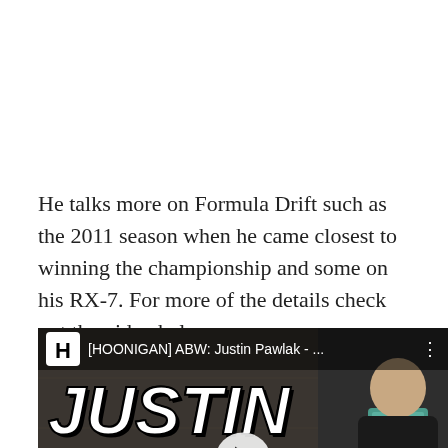He talks more on Formula Drift such as the 2011 season when he came closest to winning the championship and some on his RX-7. For more of the details check out the video below.
[Figure (screenshot): YouTube video thumbnail for [HOONIGAN] ABW: Justin Pawlak - ... showing Justin Pawlak with large bold text 'JUSTIN PAWLAK' overlaid, a Hoonigan logo, video title bar, and play button.]